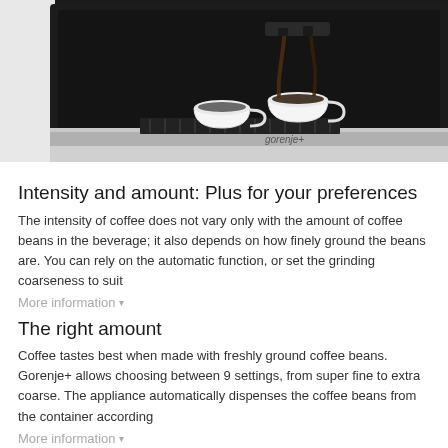[Figure (photo): Built-in Gorenje+ coffee machine dispensing coffee into two white ceramic cups, shown in a dark stainless steel appliance]
Intensity and amount: Plus for your preferences
The intensity of coffee does not vary only with the amount of coffee beans in the beverage; it also depends on how finely ground the beans are. You can rely on the automatic function, or set the grinding coarseness to suit
More information ▾
The right amount
Coffee tastes best when made with freshly ground coffee beans. Gorenje+ allows choosing between 9 settings, from super fine to extra coarse. The appliance automatically dispenses the coffee beans from the container according
More information ▾
Intensity and amount: Plus for your quality